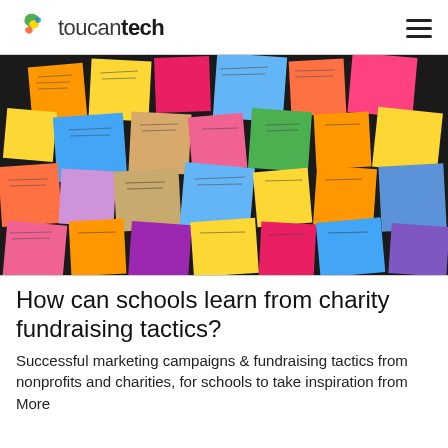toucantech
[Figure (photo): A wall covered in colorful sticky notes with handwritten text in various colors including yellow, orange, pink, blue, and purple.]
How can schools learn from charity fundraising tactics?
Successful marketing campaigns & fundraising tactics from nonprofits and charities, for schools to take inspiration from More